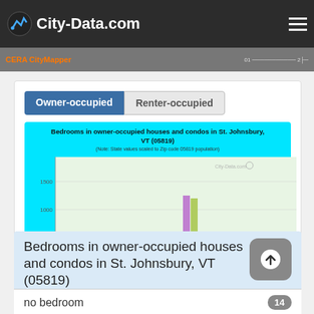City-Data.com
CERA CityMapper
Owner-occupied | Renter-occupied
[Figure (grouped-bar-chart): Bedrooms in owner-occupied houses and condos in St. Johnsbury, VT (05819)]
Bedrooms in owner-occupied houses and condos in St. Johnsbury, VT (05819)
no bedroom
14